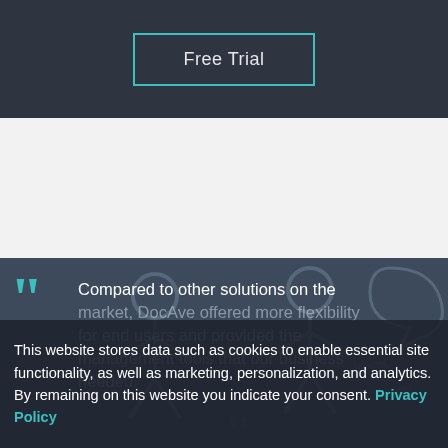Free Trial
[Figure (illustration): Stick figure people illustration with handwritten-style text including 'teamC' and 'produ' on a dark blue-grey background]
Compared to other solutions on the market, DocAve offered more flexibility for end users and provided the management tools that our business needed.
This website stores data such as cookies to enable essential site functionality, as well as marketing, personalization, and analytics. By remaining on this website you indicate your consent. Privacy Policy